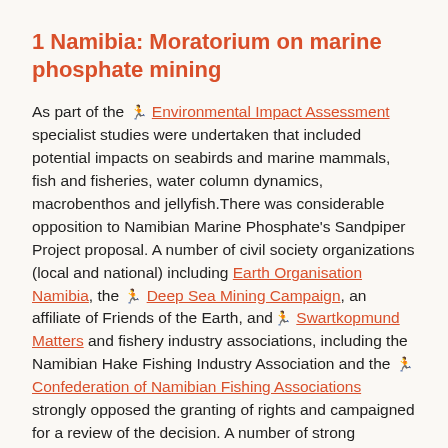1 Namibia: Moratorium on marine phosphate mining
As part of the 🔗 Environmental Impact Assessment specialist studies were undertaken that included potential impacts on seabirds and marine mammals, fish and fisheries, water column dynamics, macrobenthos and jellyfish.There was considerable opposition to Namibian Marine Phosphate's Sandpiper Project proposal. A number of civil society organizations (local and national) including Earth Organisation Namibia, the 🔗 Deep Sea Mining Campaign, an affiliate of Friends of the Earth, and 🔗 Swartkopmund Matters and fishery industry associations, including the Namibian Hake Fishing Industry Association and the 🔗 Confederation of Namibian Fishing Associations strongly opposed the granting of rights and campaigned for a review of the decision. A number of strong objections have been raised against the Sandpiper Project, including direct